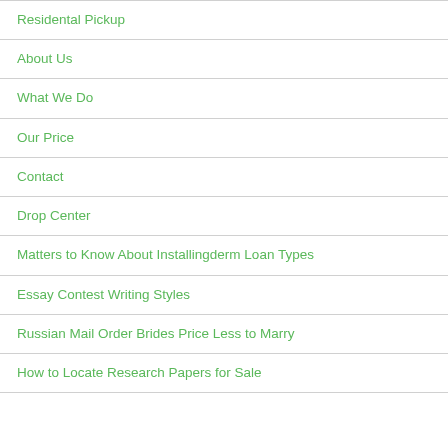Residental Pickup
About Us
What We Do
Our Price
Contact
Drop Center
Matters to Know About Installingderm Loan Types
Essay Contest Writing Styles
Russian Mail Order Brides Price Less to Marry
How to Locate Research Papers for Sale